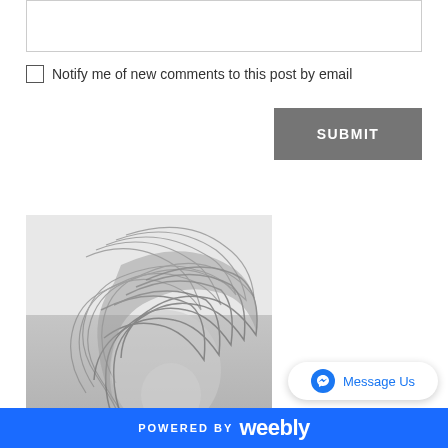[text input field]
Notify me of new comments to this post by email
SUBMIT
[Figure (photo): Black and white photograph of a person with windswept hair covering most of their face]
Message Us
POWERED BY weebly